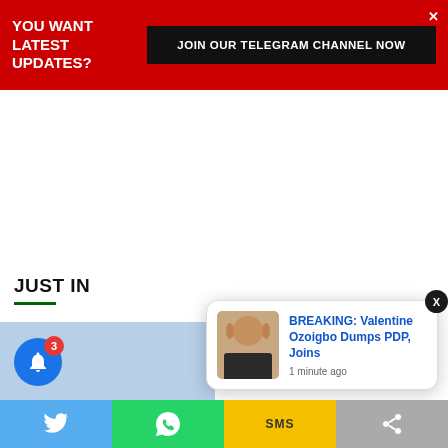YOU WANT LATEST UPDATES? JOIN OUR TELEGRAM CHANNEL NOW
JUST IN
BREAKING: Valentine Ozoigbo Dumps PDP, Joins
1 minute ago